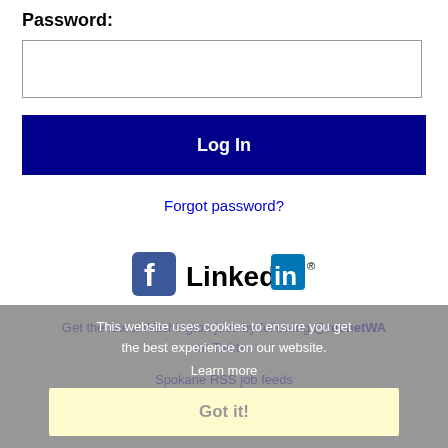Password:
[Figure (screenshot): Password input text field (empty)]
[Figure (screenshot): Log In button (dark navy blue)]
Forgot password?
[Figure (logo): Facebook logo icon and LinkedIn logo icon side by side]
Get the latest Washington jobs by following @recnetWA on Twitter.
Spokane RSS job feeds
This website uses cookies to ensure you get the best experience on our website.
Learn more
Got it!